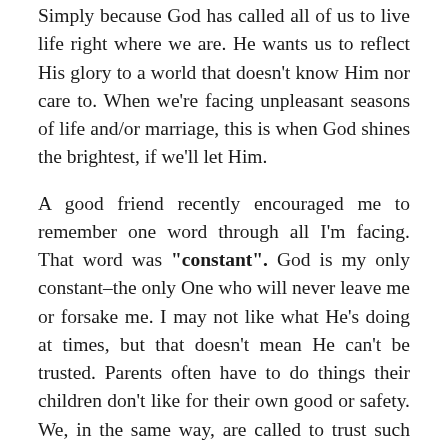Simply because God has called all of us to live life right where we are. He wants us to reflect His glory to a world that doesn't know Him nor care to. When we're facing unpleasant seasons of life and/or marriage, this is when God shines the brightest, if we'll let Him.
A good friend recently encouraged me to remember one word through all I'm facing. That word was "constant". God is my only constant–the only One who will never leave me or forsake me. I may not like what He's doing at times, but that doesn't mean He can't be trusted. Parents often have to do things their children don't like for their own good or safety. We, in the same way, are called to trust such seasons to the only One who is unchanging. Difficulty reveals idols I may have been clinging to too tightly. I must let go of the old to embrace the new, and find the joy God has stored up for me in the new season.